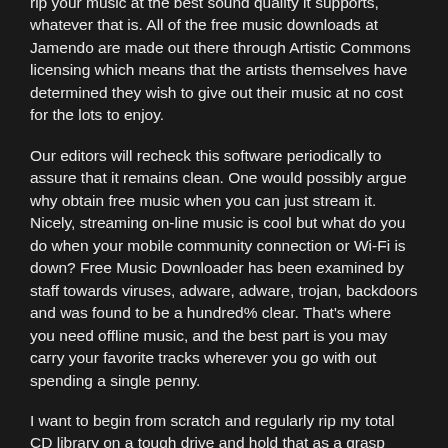rip your music at the best sound quality it supports, whatever that is. All of the free music downloads at Jamendo are made out there through Artistic Commons licensing which means that the artists themselves have determined they wish to give out their music at no cost for the lots to enjoy.
Our editors will recheck this software periodically to assure that it remains clean. One would possibly argue why obtain free music when you can just stream it. Nicely, streaming on-line music is cool but what do you do when your mobile community connection or Wi-Fi is down? Free Music Downloader has been examined by staff towards viruses, adware, adware, trojan, backdoors and was found to be a hundred% clear. That's where you need offline music, and the best part is you may carry your favorite tracks wherever you go with out spending a single penny.
I want to begin from scratch and regularly rip my total CD library on a tough drive and hold that as a grasp library and seize music from there as needed. I would like these rips to be the absolute best high quality or as close to the original CD as